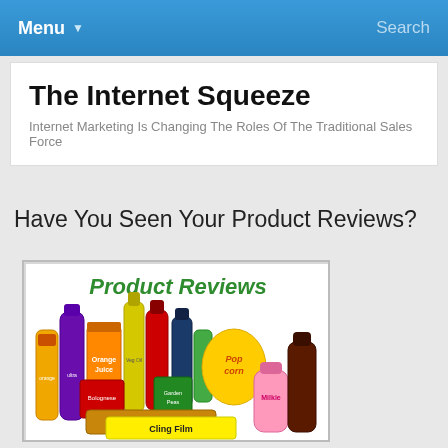Menu ▾   Search
The Internet Squeeze
Internet Marketing Is Changing The Roles Of The Traditional Sales Force
Have You Seen Your Product Reviews?
[Figure (photo): Product Reviews image showing various grocery and household products including orange juice, dish soap, orange juice carton, vegetable oil, popcorn, bolognese sauce, garden peas, ginger biscuits, milkshake drink, BBQ sauce, and Cling Film, with 'Product Reviews' text in green at the top.]